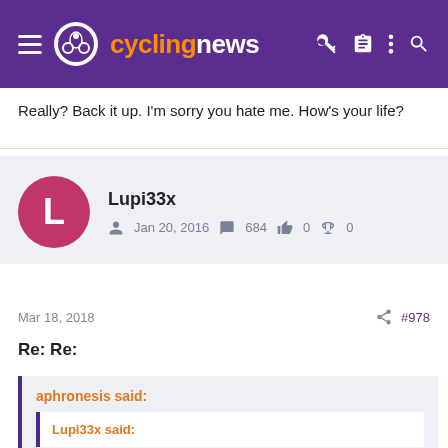cyclingnews
Really? Back it up. I'm sorry you hate me. How's your life?
Lupi33x
Jan 20, 2016  684  0  0
Mar 18, 2018  #978
Re: Re:
aphronesis said:
Lupi33x said: